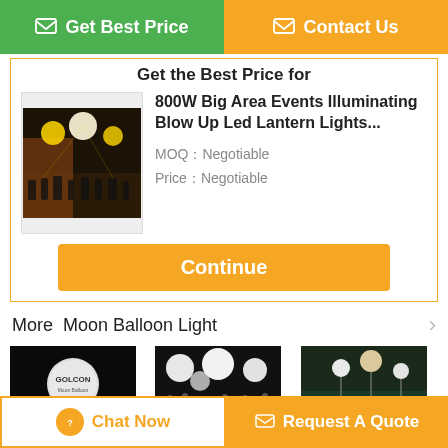[Figure (screenshot): Green 'Get Best Price' button and orange 'Contact Us' button at top]
Get the Best Price for
[Figure (photo): Photo of night event with balloon lights over crowds]
800W Big Area Events Illuminating Blow Up Led Lantern Lights...
MOQ：Negotiable
Price：Negotiable
Continue
More  Moon Balloon Light
[Figure (photo): Events Lighting 400W RGB balloon with logo on black background]
Events Lighting 400W RGB +...
[Figure (photo): 800W White LED Balloon lights over event crowd]
800W White Led Balloon Lights...
[Figure (photo): OSRAM 1200W HMI Lamp outdoor event scene]
OSRAM 1200W HMI Lamp Singl...
Chat Now
Request A Quote